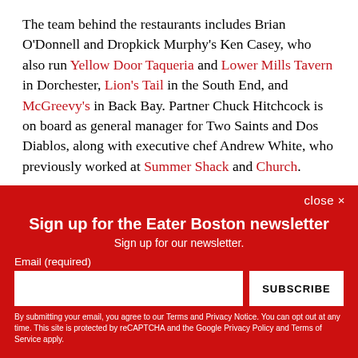The team behind the restaurants includes Brian O'Donnell and Dropkick Murphy's Ken Casey, who also run Yellow Door Taqueria and Lower Mills Tavern in Dorchester, Lion's Tail in the South End, and McGreevy's in Back Bay. Partner Chuck Hitchcock is on board as general manager for Two Saints and Dos Diablos, along with executive chef Andrew White, who previously worked at Summer Shack and Church.
Sign up for the Eater Boston newsletter
Sign up for our newsletter.
Email (required)
SUBSCRIBE
By submitting your email, you agree to our Terms and Privacy Notice. You can opt out at any time. This site is protected by reCAPTCHA and the Google Privacy Policy and Terms of Service apply.